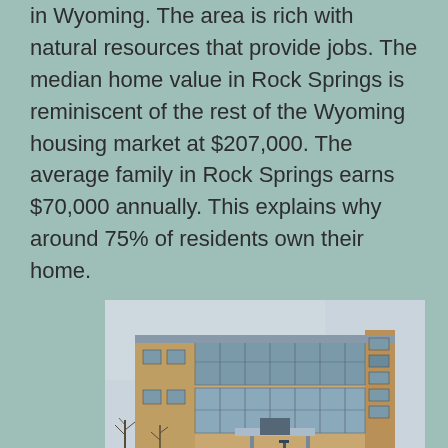in Wyoming. The area is rich with natural resources that provide jobs. The median home value in Rock Springs is reminiscent of the rest of the Wyoming housing market at $207,000. The average family in Rock Springs earns $70,000 annually. This explains why around 75% of residents own their home.
[Figure (photo): A modern two-story brick and glass building photographed in winter with snow on the ground and bare trees in the foreground.]